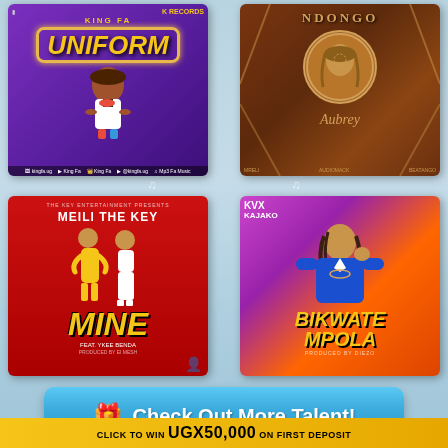[Figure (photo): King Fa - Uniform music single cover art. Purple background with cartoon character, orange/yellow title text 'UNIFORM', K Records logo.]
[Figure (photo): Ndongo - Aubrey music single cover art. Brown background with circular portrait illustration, cursive artist name 'Aubrey', stylized title 'NDONGO'.]
[Figure (photo): Meili The Key - Mine (feat. Ykee Benda) music single cover art. Red background with two figures in yellow and white outfits, large yellow 'MINE' title text.]
[Figure (photo): KVX Kajako - Bikwate Mpola music single cover art. Purple/orange gradient background with artist in blue jacket, yellow 'BIKWATE MPOLA' title text.]
🎵 🎵 🎵 🎵
🎁 Check Out More Talent!
CLICK TO WIN UGX50,000 ON FIRST DEPOSIT